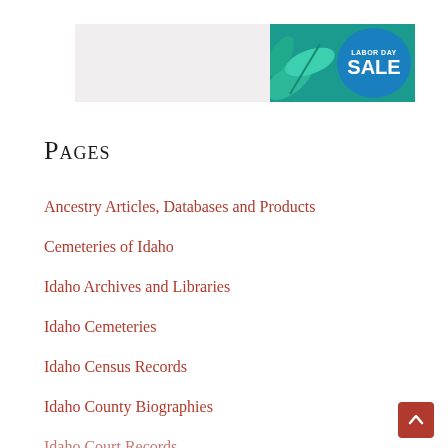[Figure (illustration): Labor Day Sale banner advertisement with teal/blue background, decorative leaf design, and circular badge reading LABOR DAY SALE]
Pages
Ancestry Articles, Databases and Products
Cemeteries of Idaho
Idaho Archives and Libraries
Idaho Cemeteries
Idaho Census Records
Idaho County Biographies
Idaho Court Records